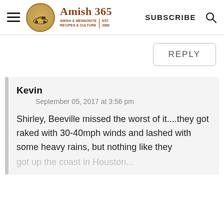Amish 365 | AMISH & MENNONITE RECIPES & CULTURE | EST. 2000 | SUBSCRIBE
REPLY
Kevin
September 05, 2017 at 3:56 pm
Shirley, Beeville missed the worst of it....they got raked with 30-40mph winds and lashed with some heavy rains, but nothing like they got up the coast in Houston...